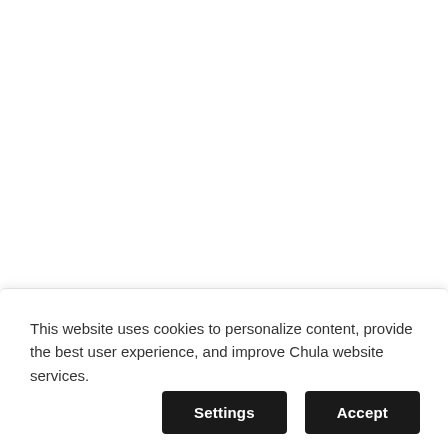• Impact Rankings
This website uses cookies to personalize content, provide the best user experience, and improve Chula website services.